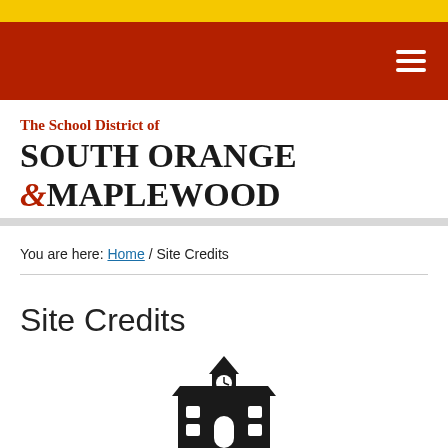[Figure (logo): The School District of South Orange & Maplewood logo]
You are here: Home / Site Credits
Site Credits
[Figure (illustration): Black schoolhouse icon with clock tower]